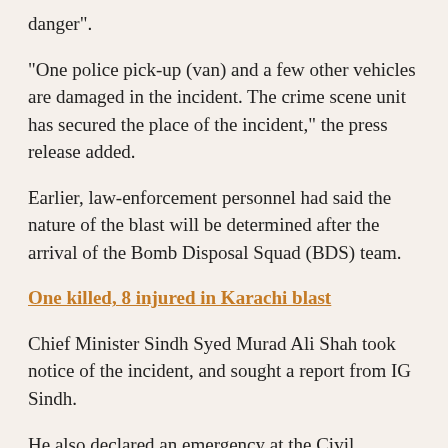danger".
"One police pick-up (van) and a few other vehicles are damaged in the incident. The crime scene unit has secured the place of the incident," the press release added.
Earlier, law-enforcement personnel had said the nature of the blast will be determined after the arrival of the Bomb Disposal Squad (BDS) team.
One killed, 8 injured in Karachi blast
Chief Minister Sindh Syed Murad Ali Shah took notice of the incident, and sought a report from IG Sindh.
He also declared an emergency at the Civil Hospital